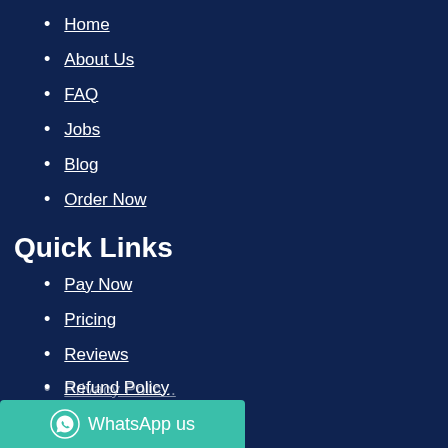Home
About Us
FAQ
Jobs
Blog
Order Now
Quick Links
Pay Now
Pricing
Reviews
Privacy Policy
Refund Policy
WhatsApp us